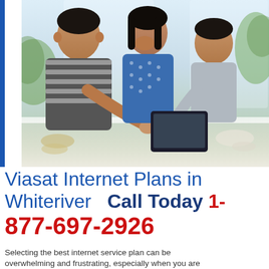[Figure (photo): A family of three — a man in a striped shirt, a woman in a blue patterned top, and a boy — sitting at a white table, laughing and looking at a tablet device together. Bright natural light comes through windows in the background with green foliage visible.]
Viasat Internet Plans in Whiteriver   Call Today 1-877-697-2926
Selecting the best internet service plan can be overwhelming and frustrating, especially when you are